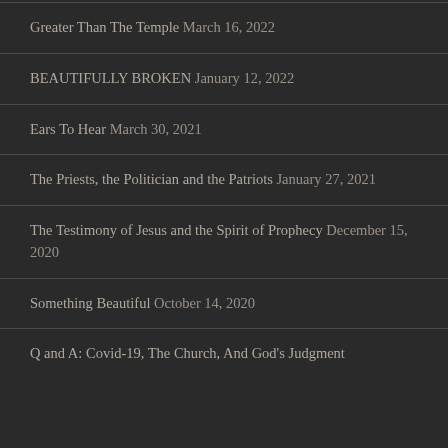Greater Than The Temple March 16, 2022
BEAUTIFULLY BROKEN January 12, 2022
Ears To Hear March 30, 2021
The Priests, the Politician and the Patriots January 27, 2021
The Testimony of Jesus and the Spirit of Prophecy December 15, 2020
Something Beautiful October 14, 2020
Q and A: Covid-19, The Church, And God's Judgment